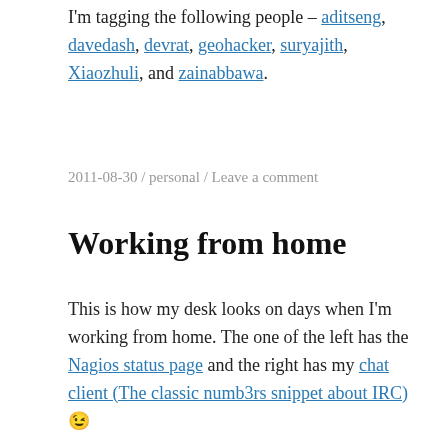I'm tagging the following people – aditseng, davedash, devrat, geohacker, suryajith, Xiaozhuli, and zainabbawa.
2011-08-30 / personal / Leave a comment
Working from home
This is how my desk looks on days when I'm working from home. The one of the left has the Nagios status page and the right has my chat client (The classic numb3rs snippet about IRC) 😉